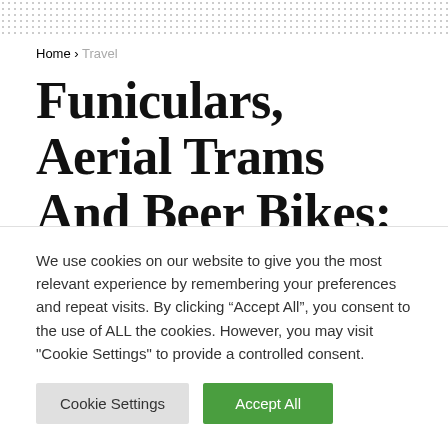Home > Travel
Funiculars, Aerial Trams And Beer Bikes: 11 Off-Beat Transport Options Around The World – The
We use cookies on our website to give you the most relevant experience by remembering your preferences and repeat visits. By clicking “Accept All”, you consent to the use of ALL the cookies. However, you may visit "Cookie Settings" to provide a controlled consent.